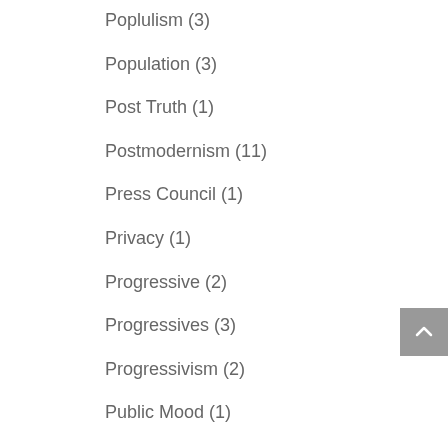Poplulism (3)
Population (3)
Post Truth (1)
Postmodernism (11)
Press Council (1)
Privacy (1)
Progressive (2)
Progressives (3)
Progressivism (2)
Public Mood (1)
Putin (1)
Q&A (1)